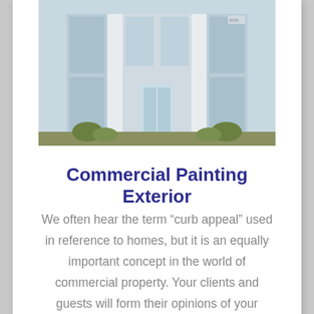[Figure (photo): Exterior of a commercial building with glass facade, walkway leading to entrance, surrounded by landscaping]
Commercial Painting Exterior
We often hear the term “curb appeal” used in reference to homes, but it is an equally important concept in the world of commercial property. Your clients and guests will form their opinions of your establishment quickly, making this first impression a critical opportunity.
[Figure (photo): Partial view of dark teal/painted surface with text partially visible reading 'Commercial Interi...']